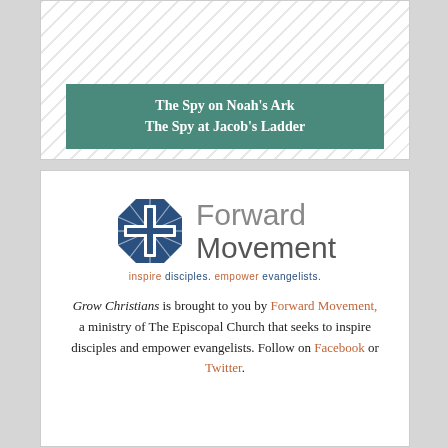[Figure (illustration): Book cover image with diagonal stripe background and teal title box reading 'The Spy on Noah's Ark / The Spy at Jacob's Ladder']
The Spy on Noah's Ark
The Spy at Jacob's Ladder
[Figure (logo): Forward Movement logo with blue cross/starburst emblem and text 'Forward Movement inspire disciples. empower evangelists.']
Grow Christians is brought to you by Forward Movement, a ministry of The Episcopal Church that seeks to inspire disciples and empower evangelists. Follow on Facebook or Twitter.